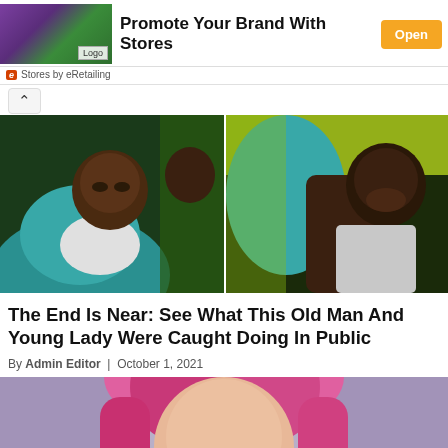[Figure (infographic): Advertisement banner with athletic woman image, text 'Promote Your Brand With Stores', and orange 'Open' button]
e  Stores by eRetailing
[Figure (photo): Two side-by-side video thumbnails showing people in teal/yellow jackets in close proximity]
The End Is Near: See What This Old Man And Young Lady Were Caught Doing In Public
By Admin Editor  |  October 1, 2021
[Figure (photo): Woman with pink/red ombre hair against a purple background, cropped at the eyes at the bottom of the page]